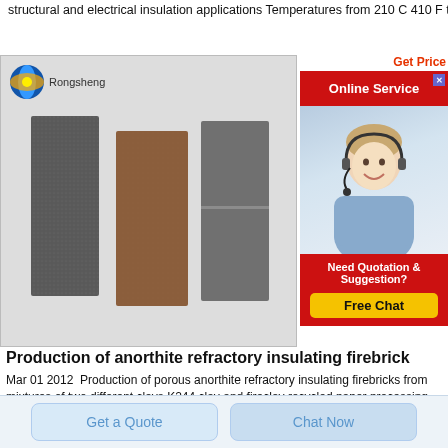structural and electrical insulation applications Temperatures from 210 C 410 F to 2000 C 3632 F
[Figure (photo): Three anorthite refractory insulating firebricks shown side by side: a dark gray brick on the left, a brown/reddish brick in the center, and a speckled gray brick on the right, displayed against a light gray background with Rongsheng logo in upper left.]
[Figure (infographic): Online Service advertisement panel with red background showing 'Online Service' header, a customer service representative wearing a headset smiling, 'Need Quotation & Suggestion?' text, and a yellow 'Free Chat' button. Also shows 'Get Price' text in red at top.]
Production of anorthite refractory insulating firebrick
Mar 01 2012  Production of porous anorthite refractory insulating firebricks from mixtures of two different clays K244 clay and fireclay recycled paper processing waste and sawdust addition are investigated Suitability of alkali containing clay low
Get a Quote
Chat Now